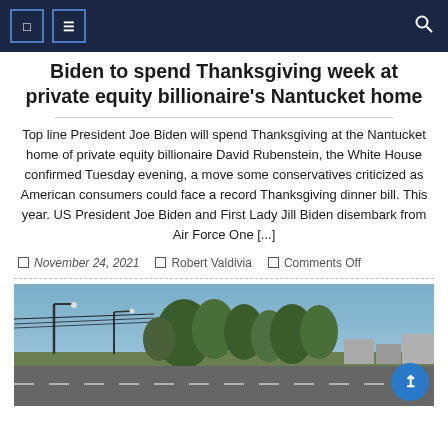Biden to spend Thanksgiving week at private equity billionaire's Nantucket home
Top line President Joe Biden will spend Thanksgiving at the Nantucket home of private equity billionaire David Rubenstein, the White House confirmed Tuesday evening, a move some conservatives criticized as American consumers could face a record Thanksgiving dinner bill. This year. US President Joe Biden and First Lady Jill Biden disembark from Air Force One [...]
November 24, 2021   Robert Valdivia   Comments Off
[Figure (photo): Outdoor urban street scene with trees, power lines, street lamps, and buildings in the background under a blue sky]